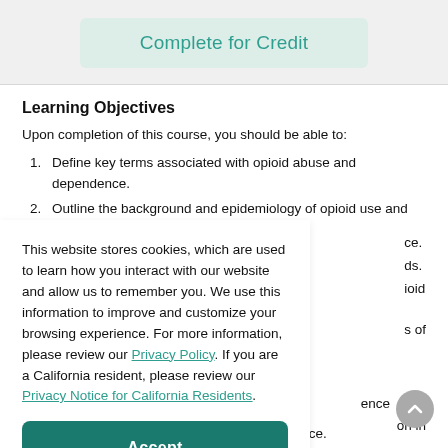Complete for Credit
Learning Objectives
Upon completion of this course, you should be able to:
1. Define key terms associated with opioid abuse and dependence.
2. Outline the background and epidemiology of opioid use and
This website stores cookies, which are used to learn how you interact with our website and allow us to remember you. We use this information to improve and customize your browsing experience. For more information, please review our Privacy Policy. If you are a California resident, please review our Privacy Notice for California Residents.
Accept
the management of opioid abuse and dependence.